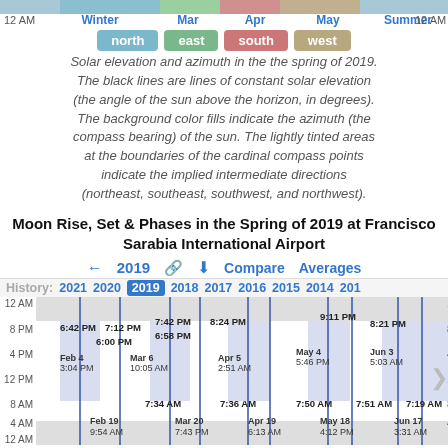[Figure (other): Top strip showing solar azimuth color chart with 12 AM labels and season labels: Winter, Mar, Apr, May, Summer]
north  east  south  west (legend pills)
Solar elevation and azimuth in the the spring of 2019. The black lines are lines of constant solar elevation (the angle of the sun above the horizon, in degrees). The background color fills indicate the azimuth (the compass bearing) of the sun. The lightly tinted areas at the boundaries of the cardinal compass points indicate the implied intermediate directions (northeast, southeast, southwest, and northwest).
Moon Rise, Set & Phases in the Spring of 2019 at Francisco Sarabia International Airport
[Figure (other): Moon rise, set and phases chart for Spring 2019 at Francisco Sarabia International Airport, showing times for Feb 4, Feb 19, Mar 6, Mar 20, Apr 5, Apr 19, May 4, May 18, Jun 3, Jun 17 with rise/set times plotted on a 12AM-12PM-12AM vertical axis]